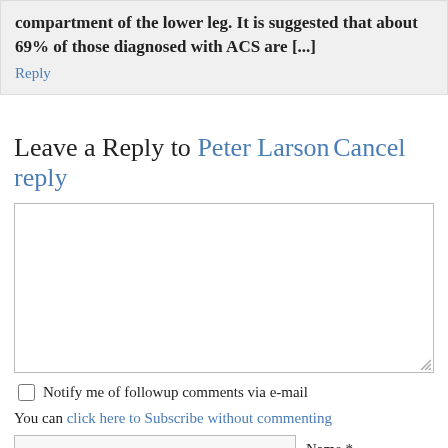compartment of the lower leg. It is suggested that about 69% of those diagnosed with ACS are [...]
Reply
Leave a Reply to Peter Larson Cancel reply
[Figure (other): Comment text area input box]
Notify me of followup comments via e-mail
You can click here to Subscribe without commenting
Name *
Email *